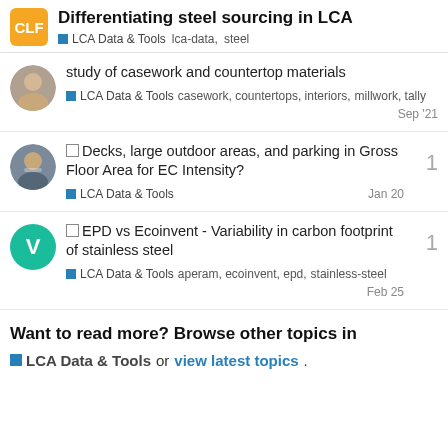Differentiating steel sourcing in LCA — LCA Data & Tools  lca-data,  steel
study of casework and countertop materials — LCA Data & Tools  casework, countertops, interiors, millwork, tally  Sep '21
□ Decks, large outdoor areas, and parking in Gross Floor Area for EC Intensity? — LCA Data & Tools  Jan 20  1
□ EPD vs Ecoinvent - Variability in carbon footprint of stainless steel — LCA Data & Tools  aperam, ecoinvent, epd, stainless-steel  Feb 25  1
Want to read more? Browse other topics in
■ LCA Data & Tools or view latest topics.